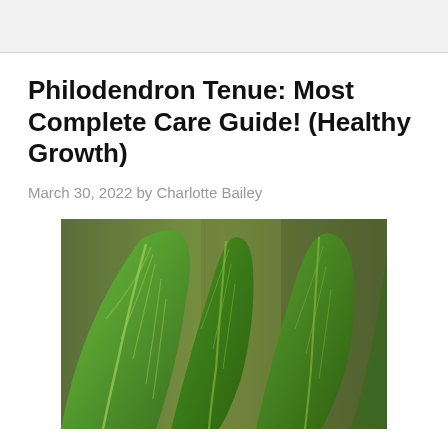Philodendron Tenue: Most Complete Care Guide! (Healthy Growth)
March 30, 2022 by Charlotte Bailey
[Figure (photo): Close-up photo of large dark green Philodendron Tenue leaves with prominent white veins, shown against a blurred background of other tropical plants.]